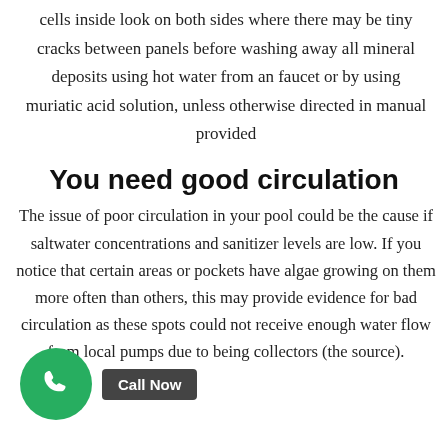cells inside look on both sides where there may be tiny cracks between panels before washing away all mineral deposits using hot water from an faucet or by using muriatic acid solution, unless otherwise directed in manual provided
You need good circulation
The issue of poor circulation in your pool could be the cause if saltwater concentrations and sanitizer levels are low. If you notice that certain areas or pockets have algae growing on them more often than others, this may provide evidence for bad circulation as these spots could not receive enough water flow from local pumps due to being collectors (the source).